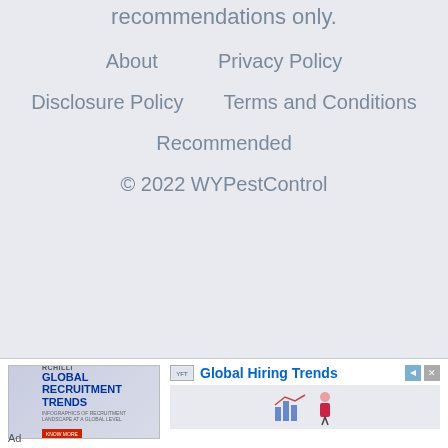recommendations only.
About     Privacy Policy
Disclosure Policy     Terms and Conditions
Recommended
© 2022 WYPestControl
[Figure (infographic): Advertisement banner for RChilli Global Recruitment Trends with text 'Global Hiring Trends' in blue, navigation arrows, and close button. Shows a recruitment trends report cover image on the left.]
Ad